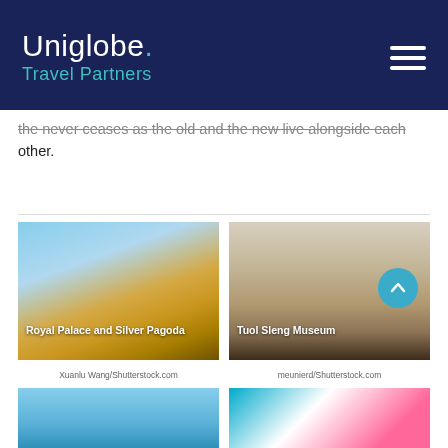Uniglobe. Travel Partners
the never ceases as the old and the new live alongside each other.
[Figure (photo): Royal Palace and Silver Pagoda - a golden Cambodian temple complex under blue sky]
Xuanlu Wang/Shutterstock.com
[Figure (photo): Tuol Sleng Museum - a long corridor with shuttered windows and tiled floor]
meunierd/Shutterstock.com
[Figure (photo): Partial view of a blue sky landmark]
[Figure (photo): Partial view of colorful abstract or building detail]